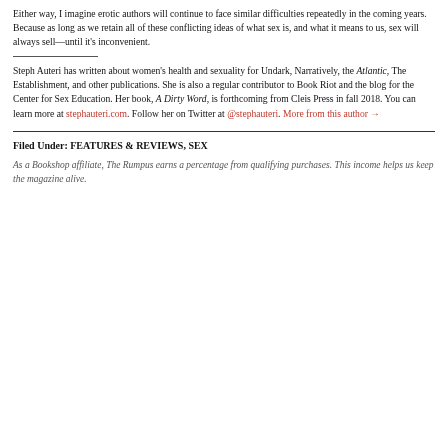Either way, I imagine erotic authors will continue to face similar difficulties repeatedly in the coming years. Because as long as we retain all of these conflicting ideas of what sex is, and what it means to us, sex will always sell—until it's inconvenient.
Steph Auteri has written about women's health and sexuality for Undark, Narratively, the Atlantic, The Establishment, and other publications. She is also a regular contributor to Book Riot and the blog for the Center for Sex Education. Her book, A Dirty Word, is forthcoming from Cleis Press in fall 2018. You can learn more at stephauteri.com. Follow her on Twitter at @stephauteri. More from this author →
Filed Under: FEATURES & REVIEWS, SEX
As a Bookshop affiliate, The Rumpus earns a percentage from qualifying purchases. This income helps us keep the magazine alive.